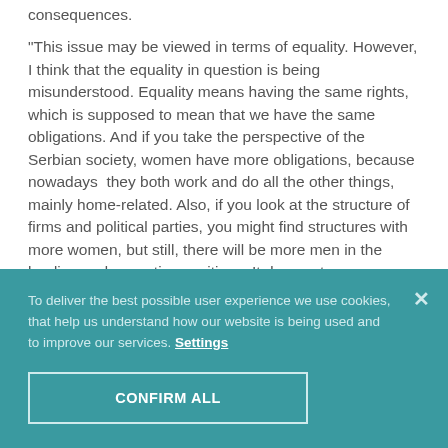consequences.
“This issue may be viewed in terms of equality. However, I think that the equality in question is being misunderstood. Equality means having the same rights, which is supposed to mean that we have the same obligations. And if you take the perspective of the Serbian society, women have more obligations, because nowadays  they both work and do all the other things, mainly home-related. Also, if you look at the structure of firms and political parties, you might find structures with more women, but still, there will be more men in the leading and executive positions. It does not seem realistic to me that this could be adopted in Serbia
To deliver the best possible user experience we use cookies, that help us understand how our website is being used and to improve our services. Settings
CONFIRM ALL